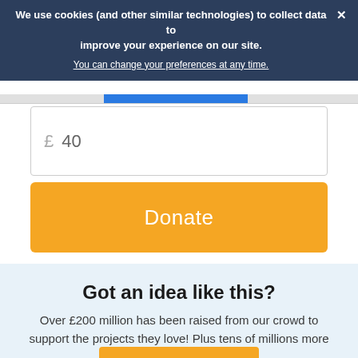We use cookies (and other similar technologies) to collect data to improve your experience on our site.
You can change your preferences at any time.
£ 40
Donate
Got an idea like this?
Over £200 million has been raised from our crowd to support the projects they love! Plus tens of millions more unlocked by our partners.